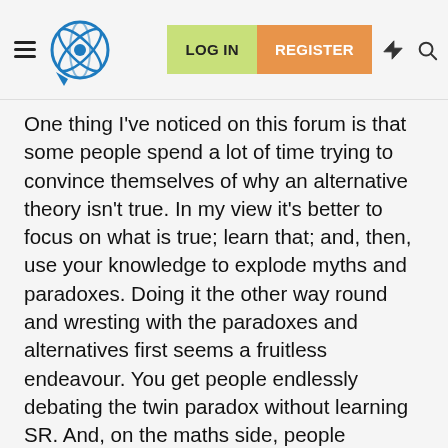LOG IN | REGISTER
One thing I've noticed on this forum is that some people spend a lot of time trying to convince themselves of why an alternative theory isn't true. In my view it's better to focus on what is true; learn that; and, then, use your knowledge to explode myths and paradoxes. Doing it the other way round and wresting with the paradoxes and alternatives first seems a fruitless endeavour. You get people endlessly debating the twin paradox without learning SR. And, on the maths side, people endlessly claiming that 1/0 = without learning rigorous maths. It's a complete waste of time IMHO.
If you're clever enough you should be able to nail SR and derive enormous satisfaction from